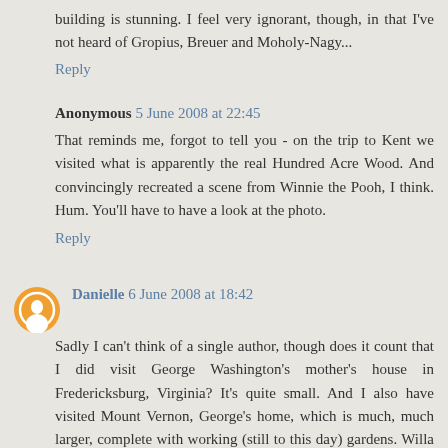building is stunning. I feel very ignorant, though, in that I've not heard of Gropius, Breuer and Moholy-Nagy...
Reply
Anonymous 5 June 2008 at 22:45
That reminds me, forgot to tell you - on the trip to Kent we visited what is apparently the real Hundred Acre Wood. And convincingly recreated a scene from Winnie the Pooh, I think. Hum. You'll have to have a look at the photo.
Reply
Danielle 6 June 2008 at 18:42
Sadly I can't think of a single author, though does it count that I did visit George Washington's mother's house in Fredericksburg, Virginia? It's quite small. And I also have visited Mount Vernon, George's home, which is much, much larger, complete with working (still to this day) gardens. Willa Cather's home is located in the state I live, but it's a good six or seven hours from my city, so I've